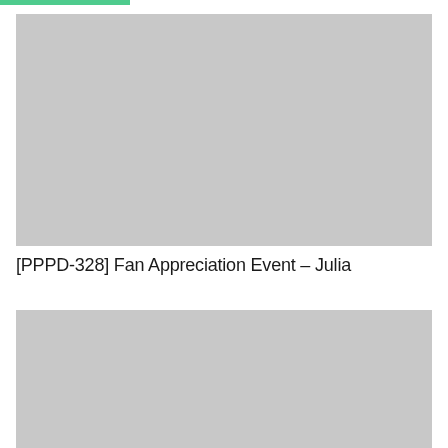[Figure (photo): Large gray placeholder image at top of page]
[PPPD-328] Fan Appreciation Event – Julia
[Figure (photo): Large gray placeholder image at bottom of page, partially cut off]